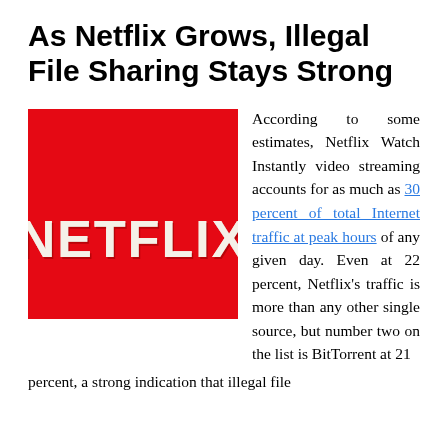As Netflix Grows, Illegal File Sharing Stays Strong
[Figure (logo): Netflix logo — red square background with cream/white 'NETFLIX' text in bold retro slab-serif font]
According to some estimates, Netflix Watch Instantly video streaming accounts for as much as 30 percent of total Internet traffic at peak hours of any given day. Even at 22 percent, Netflix's traffic is more than any other single source, but number two on the list is BitTorrent at 21 percent, a strong indication that illegal file
30 percent of total Internet traffic at peak hours